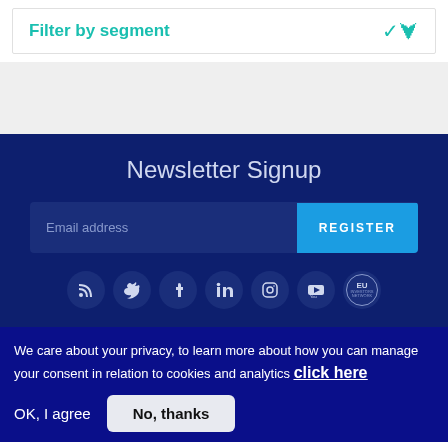Filter by segment
Newsletter Signup
Email address
REGISTER
[Figure (other): Social media icons row: RSS, Twitter, Facebook, LinkedIn, Instagram, YouTube, EU Investors Network]
We care about your privacy, to learn more about how you can manage your consent in relation to cookies and analytics click here
OK, I agree
No, thanks